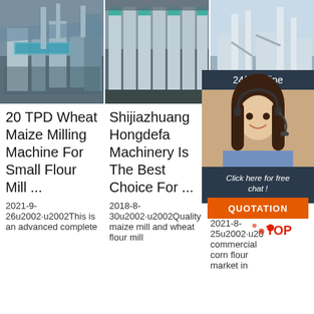[Figure (photo): Industrial wheat/maize milling machine facility interior, first image in row]
[Figure (photo): Industrial flour milling machines lined up in a factory, second image in row]
[Figure (photo): Industrial plant exterior with white equipment and towers, third image in row, partially covered by chat widget]
[Figure (photo): 24/7 Online chat widget with woman wearing headset and QUOTATION button]
20 TPD Wheat Maize Milling Machine For Small Flour Mill ...
2021-9-26u2002·u2002This is an advanced complete
Shijiazhuang Hongdefa Machinery Is The Best Choice For ...
2018-8-30u2002·u2002Quality maize mill and wheat flour mill
M M B P A F
2021-8-25u2002·u2002T commercial corn flour market in